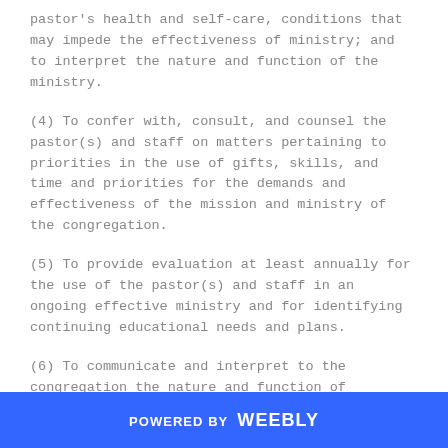pastor's health and self-care, conditions that may impede the effectiveness of ministry; and to interpret the nature and function of the ministry.
(4) To confer with, consult, and counsel the pastor(s) and staff on matters pertaining to priorities in the use of gifts, skills, and time and priorities for the demands and effectiveness of the mission and ministry of the congregation.
(5) To provide evaluation at least annually for the use of the pastor(s) and staff in an ongoing effective ministry and for identifying continuing educational needs and plans.
(6) To communicate and interpret to the congregation the nature and function of ministry in The United
POWERED BY weebly